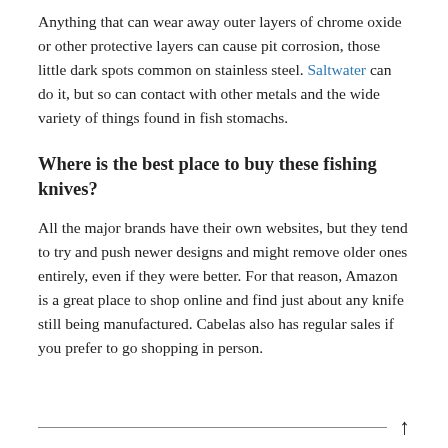Anything that can wear away outer layers of chrome oxide or other protective layers can cause pit corrosion, those little dark spots common on stainless steel. Saltwater can do it, but so can contact with other metals and the wide variety of things found in fish stomachs.
Where is the best place to buy these fishing knives?
All the major brands have their own websites, but they tend to try and push newer designs and might remove older ones entirely, even if they were better. For that reason, Amazon is a great place to shop online and find just about any knife still being manufactured. Cabelas also has regular sales if you prefer to go shopping in person.
↑